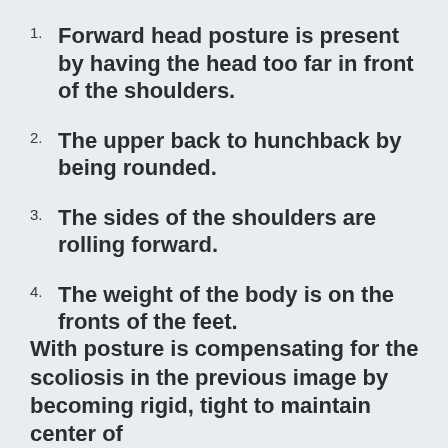Forward head posture is present by having the head too far in front of the shoulders.
The upper back to hunchback by being rounded.
The sides of the shoulders are rolling forward.
The weight of the body is on the fronts of the feet.
With posture is compensating for the scoliosis in the previous image by becoming rigid, tight to maintain center of